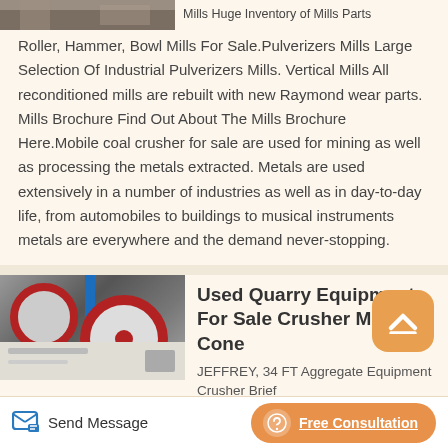[Figure (photo): Partial view of industrial mill equipment at top left]
Mills Huge Inventory of Mills Parts
Roller, Hammer, Bowl Mills For Sale.Pulverizers Mills Large Selection Of Industrial Pulverizers Mills. Vertical Mills All reconditioned mills are rebuilt with new Raymond wear parts. Mills Brochure Find Out About The Mills Brochure Here.Mobile coal crusher for sale are used for mining as well as processing the metals extracted. Metals are used extensively in a number of industries as well as in day-to-day life, from automobiles to buildings to musical instruments metals are everywhere and the demand never-stopping.
[Figure (photo): Used quarry equipment / crusher mill machinery in industrial setting]
Used Quarry Equipment For Sale Crusher Mills Cone
JEFFREY, 34 FT Aggregate Equipment Crusher Brief
Send Message
Free Consultation